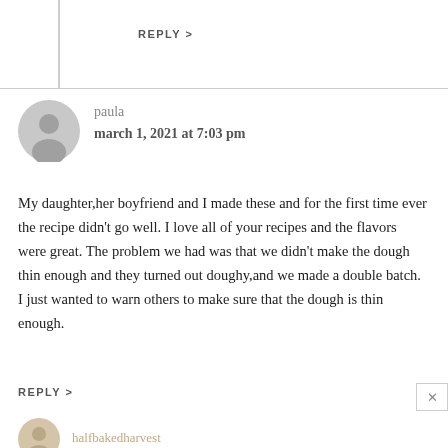REPLY >
paula
march 1, 2021 at 7:03 pm
My daughter,her boyfriend and I made these and for the first time ever the recipe didn't go well. I love all of your recipes and the flavors were great. The problem we had was that we didn't make the dough thin enough and they turned out doughy,and we made a double batch. I just wanted to warn others to make sure that the dough is thin enough.
REPLY >
halfbakedharvest